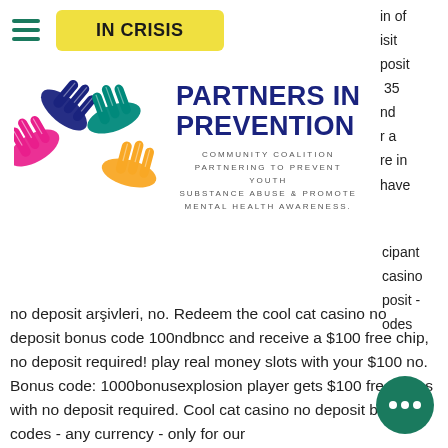[Figure (logo): Hamburger menu icon with three teal horizontal lines]
[Figure (other): Yellow button labeled IN CRISIS in bold black text]
in of
isit
posit
35
nd
r a
re in
have
[Figure (logo): Partners in Prevention logo: colorful hands (pink, blue, teal, yellow) arranged in a diamond shape]
PARTNERS IN PREVENTION
COMMUNITY COALITION PARTNERING TO PREVENT YOUTH SUBSTANCE ABUSE & PROMOTE MENTAL HEALTH AWARENESS.
cipant
casino
posit -
odes
no deposit arşivleri, no. Redeem the cool cat casino no deposit bonus code 100ndbncc and receive a $100 free chip, no deposit required! play real money slots with your $100 no. Bonus code: 1000bonusexplosion player gets $100 free chips with no deposit required. Cool cat casino no deposit bonus codes - any currency - only for our